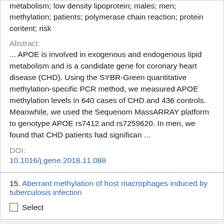metabolism; low density lipoprotein; males; men; methylation; patients; polymerase chain reaction; protein content; risk
Abstract:
... APOE is involved in exogenous and endogenous lipid metabolism and is a candidate gene for coronary heart disease (CHD). Using the SYBR-Green quantitative methylation-specific PCR method, we measured APOE methylation levels in 640 cases of CHD and 436 controls. Meanwhile, we used the Sequenom MassARRAY platform to genotype APOE rs7412 and rs7259620. In men, we found that CHD patients had significan ...
DOI:
10.1016/j.gene.2018.11.088
15. Aberrant methylation of host macrophages induced by tuberculosis infection
Select